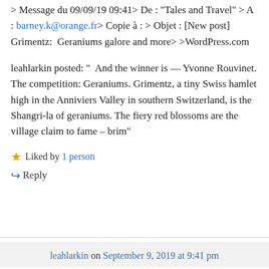> Message du 09/09/19 09:41> De : "Tales and Travel" > A : barney.k@orange.fr> Copie à : > Objet : [New post] Grimentz:  Geraniums galore and more> >WordPress.com
leahlarkin posted: "  And the winner is — Yvonne Rouvinet. The competition: Geraniums. Grimentz, a tiny Swiss hamlet high in the Anniviers Valley in southern Switzerland, is the Shangri-la of geraniums. The fiery red blossoms are the village claim to fame – brim"
★ Liked by 1 person
↵ Reply
leahlarkin on September 9, 2019 at 9:41 pm